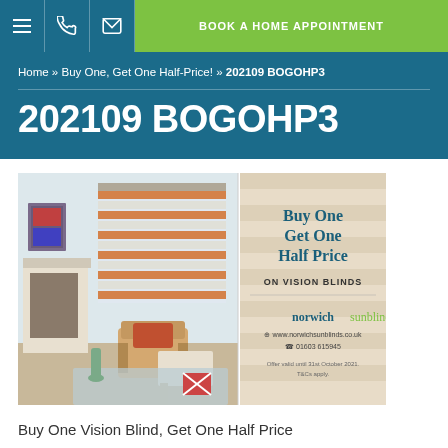≡  📞  ✉  BOOK A HOME APPOINTMENT
Home » Buy One, Get One Half-Price! » 202109 BOGOHP3
202109 BOGOHP3
[Figure (photo): Promotional image split into two panels: left panel shows a living room interior with a striped roman/vision blind on a window, fireplace, and a child's chair; right panel shows promotional text on a striped background reading 'Buy One Get One Half Price ON VISION BLINDS' with Norwich Sun Blinds branding, website www.norwichsunblinds.co.uk, phone 01603 615945, and offer valid until 31st October 2021, T&Cs apply.]
Buy One Vision Blind, Get One Half Price